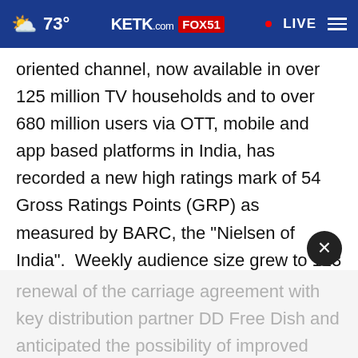73° KETK.com FOX51 • LIVE
oriented channel, now available in over 125 million TV households and to over 680 million users via OTT, mobile and app based platforms in India, has recorded a new high ratings mark of 54 Gross Ratings Points (GRP) as measured by BARC, the "Nielsen of India". Weekly audience size grew to 113 million viewers who spent an average Time Spent Viewing (TSV) of 89 minutes. The company had previously announced renewal of the carriage agreement with key distribution partner DD Free Dish and anticipated the possibility of improved